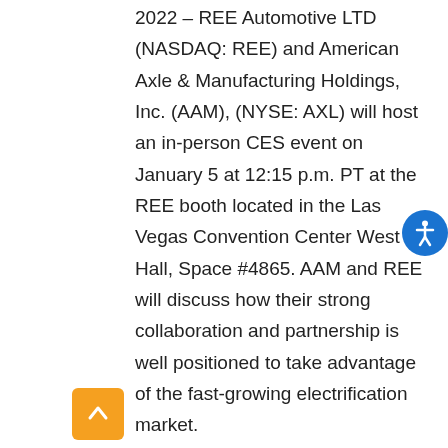2022 – REE Automotive LTD (NASDAQ: REE) and American Axle & Manufacturing Holdings, Inc. (AAM), (NYSE: AXL) will host an in-person CES event on January 5 at 12:15 p.m. PT at the REE booth located in the Las Vegas Convention Center West Hall, Space #4865. AAM and REE will discuss how their strong collaboration and partnership is well positioned to take advantage of the fast-growing electrification market. AAM's highly advanced, power-dense, and fully integrated 3-in-1 electric drive technology is supporting REE's disruptive ultra-modular EV platforms to